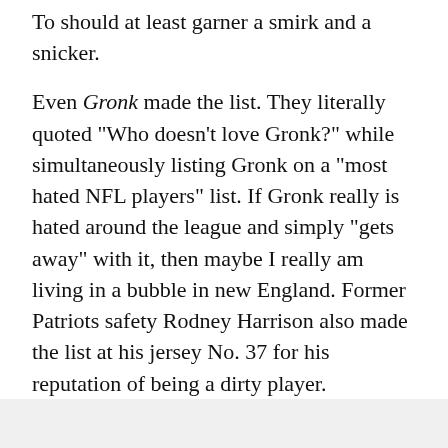To should at least garner a smirk and a snicker.
Even Gronk made the list. They literally quoted "Who doesn't love Gronk?" while simultaneously listing Gronk on a "most hated NFL players" list. If Gronk really is hated around the league and simply "gets away" with it, then maybe I really am living in a bubble in new England. Former Patriots safety Rodney Harrison also made the list at his jersey No. 37 for his reputation of being a dirty player.
Ultimately, this is just another hilarious way for national media to pander to fans who (mostly) secretly wish Brady was their quarterback. Clearly, Brady's almost unprecedented success with the